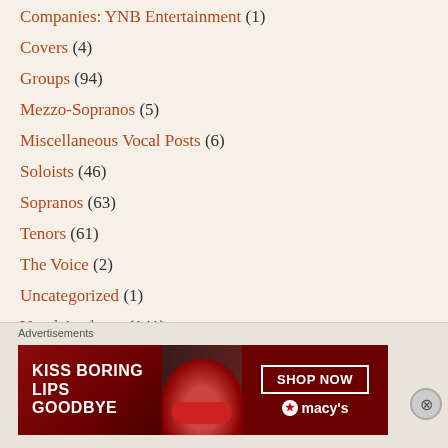Companies: YNB Entertainment (1)
Covers (4)
Groups (94)
Mezzo-Sopranos (5)
Miscellaneous Vocal Posts (6)
Soloists (46)
Sopranos (63)
Tenors (61)
The Voice (2)
Uncategorized (1)
Vocal Analyses (141)
Vocal Range Videos (2)
[Figure (other): Advertisement banner for Macy's lipstick - text reads KISS BORING LIPS GOODBYE with SHOP NOW button and Macy's star logo]